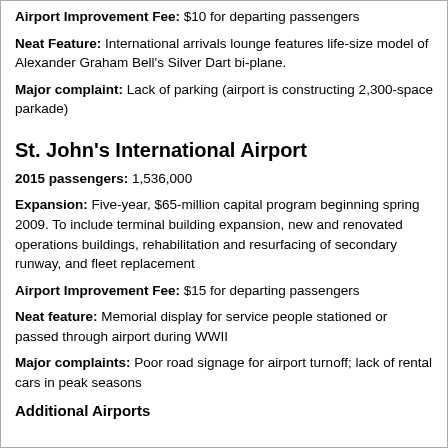Airport Improvement Fee: $10 for departing passengers
Neat Feature: International arrivals lounge features life-size model of Alexander Graham Bell's Silver Dart bi-plane.
Major complaint: Lack of parking (airport is constructing 2,300-space parkade)
St. John's International Airport
2015 passengers: 1,536,000
Expansion: Five-year, $65-million capital program beginning spring 2009. To include terminal building expansion, new and renovated operations buildings, rehabilitation and resurfacing of secondary runway, and fleet replacement
Airport Improvement Fee: $15 for departing passengers
Neat feature: Memorial display for service people stationed or passed through airport during WWII
Major complaints: Poor road signage for airport turnoff; lack of rental cars in peak seasons
Additional Airports